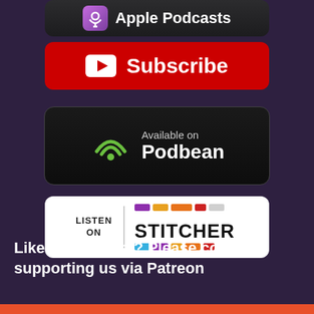[Figure (logo): Apple Podcasts button with purple podcast icon and white text]
[Figure (logo): YouTube Subscribe button with red background, white play icon, and white Subscribe text]
[Figure (logo): Available on Podbean button with black background, green wifi/podcast icon, and white text]
[Figure (logo): Listen on Stitcher button with white background, colorful Stitcher logo blocks]
Like our content? Please consider supporting us via Patreon